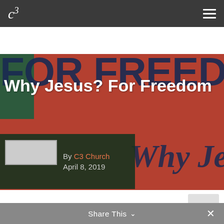c3 [logo] [menu]
[Figure (photo): Hero image with orange/red background showing 'FOR FREEDOM' text in dark blue, overlaid with 'Why Jesus? For Freedom' title in white, a dark green author info box, and an old-English style 'Why Je...' text on the right side]
Why Jesus? For Freedom
By C3 Church
April 8, 2019
| The following post is based on our “Why Jesus? series” across C3 Sydney’s 11 Locations |
Share This ∨ ×